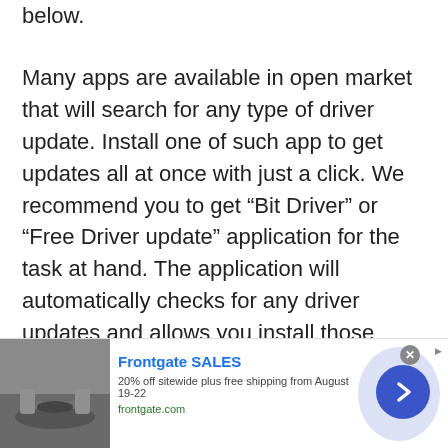below.
Many apps are available in open market that will search for any type of driver update. Install one of such app to get updates all at once with just a click. We recommend you to get “Bit Driver” or “Free Driver update” application for the task at hand. The application will automatically checks for any driver updates and allows you install those updates on your computer.
[Figure (other): Advertisement banner for Frontgate SALES showing outdoor furniture with fire pit, text '20% off sitewide plus free shipping from August 19-22', frontgate.com, with a blue circular arrow button.]